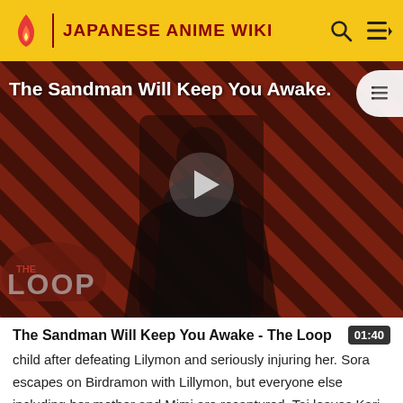JAPANESE ANIME WIKI
[Figure (screenshot): Video thumbnail for 'The Sandman Will Keep You Awake - The Loop' showing a dark-robed figure against a red and black striped background, with a play button in the center and 'THE LOOP' watermark.]
The Sandman Will Keep You Awake - The Loop
child after defeating Lilymon and seriously injuring her. Sora escapes on Birdramon with Lillymon, but everyone else including her mother and Mimi are recaptured. Tai leaves Kari with Matt while he goes rescue everyone, and